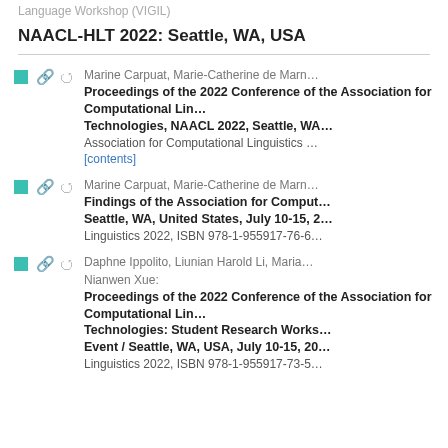Language Workshop (VIGIL)
NAACL-HLT 2022: Seattle, WA, USA
Marine Carpuat, Marie-Catherine de Marn… Proceedings of the 2022 Conference of the Association for Computational Ling… Technologies, NAACL 2022, Seattle, WA… Association for Computational Linguistics … [contents]
Marine Carpuat, Marie-Catherine de Marn… Findings of the Association for Comput… Seattle, WA, United States, July 10-15, 2… Linguistics 2022, ISBN 978-1-955917-76-6…
Daphne Ippolito, Liunian Harold Li, Maria… Nianwen Xue: Proceedings of the 2022 Conference of the Association for Computational Ling… Technologies: Student Research Works… Event / Seattle, WA, USA, July 10-15, 20… Linguistics 2022, ISBN 978-1-955917-73-5…